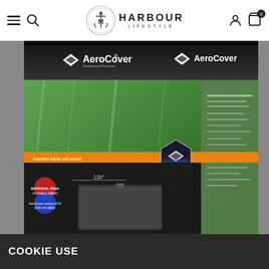Harbour Lifestyle — navigation header with hamburger menu, search, logo, account and cart icons
[Figure (photo): AeroCover garden furniture cover product box packaging, showing the box from a front-and-side angle. The box is primarily dark/black with green tropical leaf imagery and orange accent stripe. Branding shows 'AeroCover' logo on the front and side. The front panel shows an outdoor furniture set, product name area, and feature icons. The right side shows product specification text. A protective cover is illustrated on the box bottom portion.]
COOKIE USE